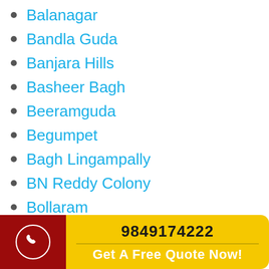Balanagar
Bandla Guda
Banjara Hills
Basheer Bagh
Beeramguda
Begumpet
Bagh Lingampally
BN Reddy Colony
Bollaram
9849174222
Get A Free Quote Now!